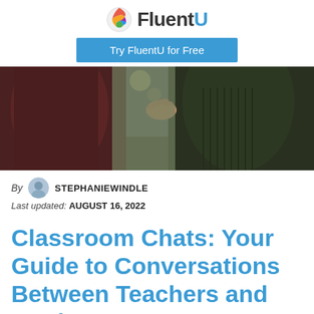[Figure (logo): FluentU logo with globe icon and 'Try FluentU for Free' button]
[Figure (photo): Two people in dark clothing having a conversation outdoors, one touching the other's shoulder]
By STEPHANIEWINDLE
Last updated: AUGUST 16, 2022
Classroom Chats: Your Guide to Conversations Between Teachers and Students